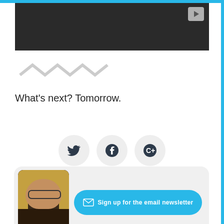[Figure (screenshot): Dark video player block with a gray YouTube-style play button in the top-right corner]
[Figure (illustration): Light gray zigzag/chevron wave decoration]
What's next? Tomorrow.
[Figure (infographic): Three circular social media icon buttons: Twitter bird, Facebook F, and Google+ (C+), on light gray circular backgrounds]
[Figure (photo): Person with blonde hair and glasses, used as newsletter sign-up card avatar]
Sign up for the email newsletter